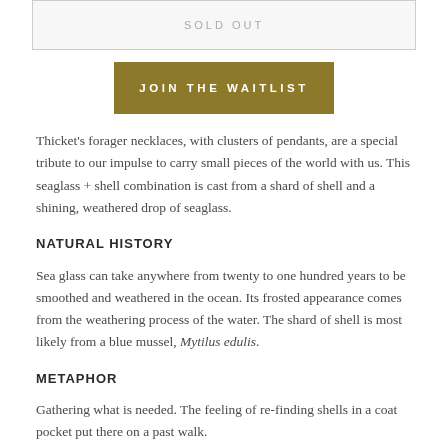SOLD OUT
JOIN THE WAITLIST
Thicket's forager necklaces, with clusters of pendants, are a special tribute to our impulse to carry small pieces of the world with us. This seaglass + shell combination is cast from a shard of shell and a shining, weathered drop of seaglass.
NATURAL HISTORY
Sea glass can take anywhere from twenty to one hundred years to be smoothed and weathered in the ocean. Its frosted appearance comes from the weathering process of the water. The shard of shell is most likely from a blue mussel, Mytilus edulis.
METAPHOR
Gathering what is needed. The feeling of re-finding shells in a coat pocket put there on a past walk.
MATERIALS + DETAILS